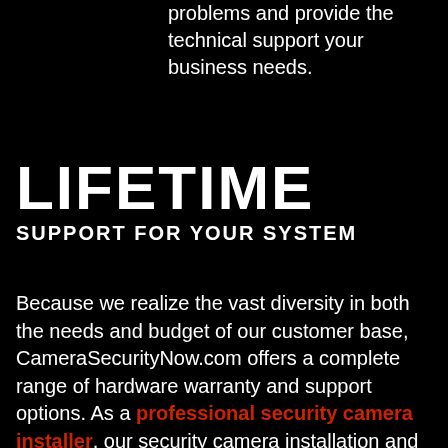problems and provide the technical support your business needs.
LIFETIME
SUPPORT FOR YOUR SYSTEM
Because we realize the vast diversity in both the needs and budget of our customer base, CameraSecurityNow.com offers a complete range of hardware warranty and support options. As a professional security camera installer, our security camera installation and equipment is backed up with a warranty and our premium technical and camera